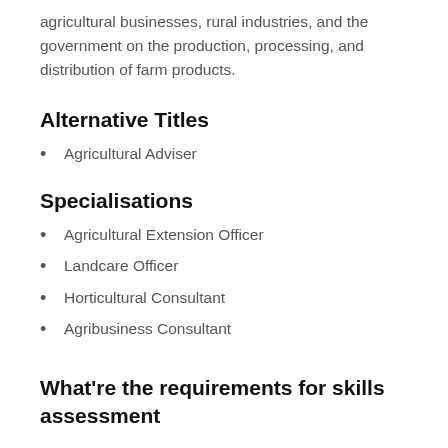agricultural businesses, rural industries, and the government on the production, processing, and distribution of farm products.
Alternative Titles
Agricultural Adviser
Specialisations
Agricultural Extension Officer
Landcare Officer
Horticultural Consultant
Agribusiness Consultant
What're the requirements for skills assessment